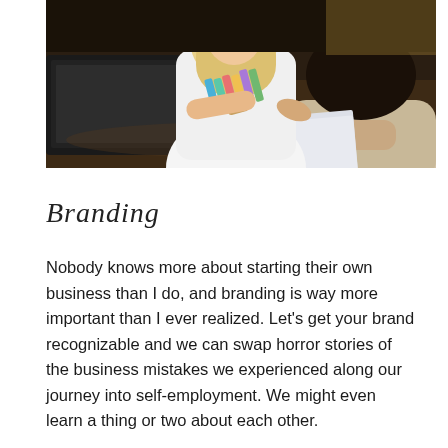[Figure (photo): Two women at a dark wooden table in a meeting. One woman (foreground, back to camera, wearing beige cardigan, dark hair) is reviewing documents. The other woman (background, blonde, white top) is holding color swatches/fan deck. A laptop is visible on the left side of the table.]
Branding
Nobody knows more about starting their own business than I do, and branding is way more important than I ever realized. Let's get your brand recognizable and we can swap horror stories of the business mistakes we experienced along our journey into self-employment. We might even learn a thing or two about each other.